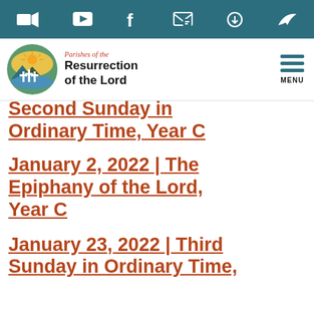Parishes of the Resurrection of the Lord — site header with navigation icons and logo
Second Sunday in Ordinary Time, Year C
January 2, 2022 | The Epiphany of the Lord, Year C
January 23, 2022 | Third Sunday in Ordinary Time,